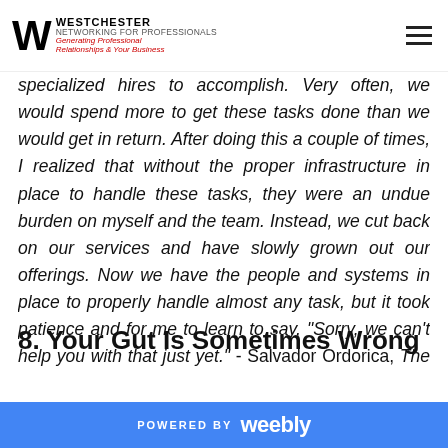WESTCHESTER NETWORKING FOR PROFESSIONALS - Generating Professional Relationships & Your Business
specialized hires to accomplish. Very often, we would spend more to get these tasks done than we would get in return. After doing this a couple of times, I realized that without the proper infrastructure in place to handle these tasks, they were an undue burden on myself and the team. Instead, we cut back on our services and have slowly grown out our offerings. Now we have the people and systems in place to properly handle almost any task, but it took patience and for me to learn to say, "Sorry, we can't help you with that just yet." - Salvador Ordorica, The Spanish Group LLC
8. Your Gut Is Sometimes Wrong
POWERED BY weebly